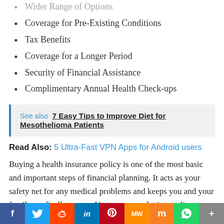Wider Range of Options
Coverage for Pre-Existing Conditions
Tax Benefits
Coverage for a Longer Period
Security of Financial Assistance
Complimentary Annual Health Check-ups
See also  7 Easy Tips to Improve Diet for Mesothelioma Patients
Read Also: 5 Ultra-Fast VPN Apps for Android users
Buying a health insurance policy is one of the most basic and important steps of financial planning. It acts as your safety net for any medical problems and keeps you and your family medically secure. You can even obtain a policy